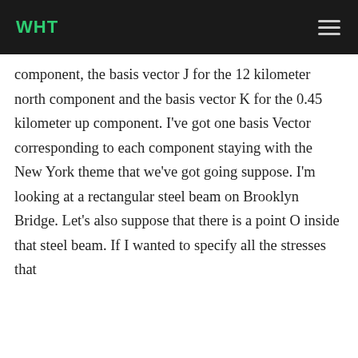WHT
component, the basis vector J for the 12 kilometer north component and the basis vector K for the 0.45 kilometer up component. I've got one basis Vector corresponding to each component staying with the New York theme that we've got going suppose. I'm looking at a rectangular steel beam on Brooklyn Bridge. Let's also suppose that there is a point O inside that steel beam. If I wanted to specify all the stresses that